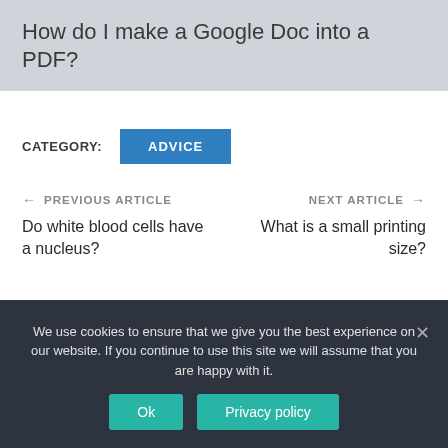How do I make a Google Doc into a PDF?
CATEGORY: ADVICE
← PREVIOUS ARTICLE
Do white blood cells have a nucleus?
NEXT ARTICLE →
What is a small printing size?
We use cookies to ensure that we give you the best experience on our website. If you continue to use this site we will assume that you are happy with it.